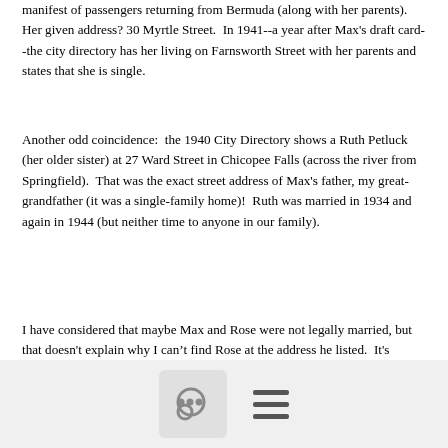manifest of passengers returning from Bermuda (along with her parents).  Her given address? 30 Myrtle Street.  In 1941--a year after Max's draft card--the city directory has her living on Farnsworth Street with her parents and states that she is single.
Another odd coincidence:  the 1940 City Directory shows a Ruth Petluck (her older sister) at 27 Ward Street in Chicopee Falls (across the river from Springfield).  That was the exact street address of Max's father, my great-grandfather (it was a single-family home)!  Ruth was married in 1934 and again in 1944 (but neither time to anyone in our family).
I have considered that maybe Max and Rose were not legally married, but that doesn't explain why I can't find Rose at the address he listed.  It's possible, I suppose, that they were secretly married
[Figure (other): Footer bar with a comment/chat button icon (speech bubble) and a hamburger menu icon (three horizontal lines)]